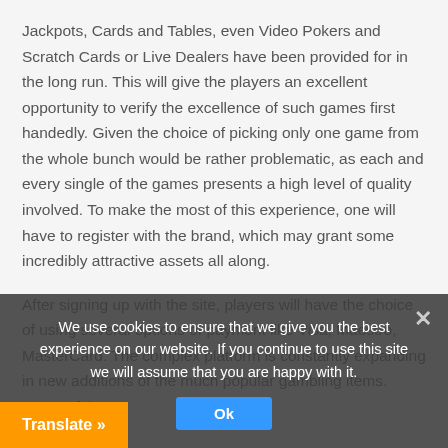Jackpots, Cards and Tables, even Video Pokers and Scratch Cards or Live Dealers have been provided for in the long run. This will give the players an excellent opportunity to verify the excellence of such games first handedly. Given the choice of picking only one game from the whole bunch would be rather problematic, as each and every single of the games presents a high level of quality involved. To make the most of this experience, one will have to register with the brand, which may grant some incredibly attractive assets all along.
After signing up with the site, players will have the choice of using several options of payment like Visa, Maestro, MasterCard. The complex platform is constantly expanding in new additions of the much popular gambling items. Users of the [partially obscured] gamblers or already seasoned players as well. Any additional information can be quickly ac[obscured]d from the general section of
We use cookies to ensure that we give you the best experience on our website. If you continue to use this site we will assume that you are happy with it.
Ok
Translate »